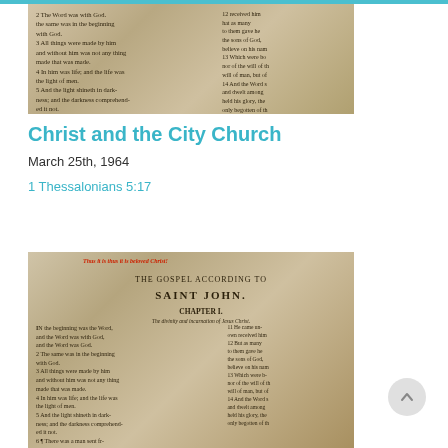[Figure (photo): Close-up photograph of an open Bible showing Gospel of Saint John, Chapter I text]
Christ and the City Church
March 25th, 1964
1 Thessalonians 5:17
[Figure (photo): Close-up photograph of an open Bible showing The Gospel According to Saint John, Chapter I, with red text visible at top]